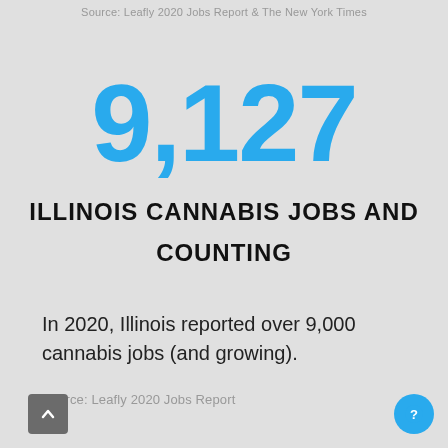Source: Leafly 2020 Jobs Report & The New York Times
9,127
ILLINOIS CANNABIS JOBS AND COUNTING
In 2020, Illinois reported over 9,000 cannabis jobs (and growing).
Source: Leafly 2020 Jobs Report